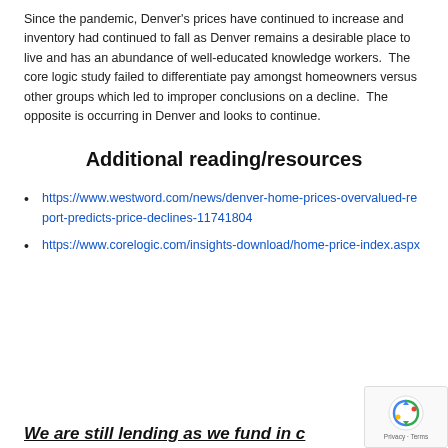Since the pandemic, Denver's prices have continued to increase and inventory had continued to fall as Denver remains a desirable place to live and has an abundance of well-educated knowledge workers.  The core logic study failed to differentiate pay amongst homeowners versus other groups which led to improper conclusions on a decline.  The opposite is occurring in Denver and looks to continue.
Additional reading/resources
https://www.westword.com/news/denver-home-prices-overvalued-report-predicts-price-declines-11741804
https://www.corelogic.com/insights-download/home-price-index.aspx
We are still lending as we fund in c…